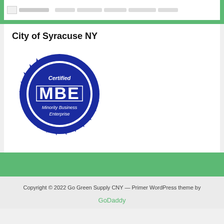[Figure (logo): Partial top navigation bar with logo, partially cropped at top of page]
City of Syracuse NY
[Figure (logo): Certified MBE Minority Business Enterprise seal — dark blue circular badge with starburst border]
Copyright © 2022 Go Green Supply CNY — Primer WordPress theme by GoDaddy